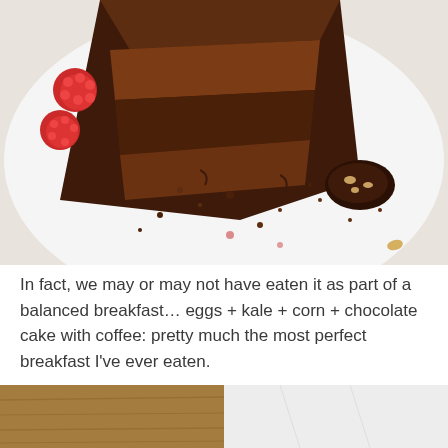[Figure (photo): Close-up top-down photo of a slice of chocolate cake on a white plate with raspberries, chocolate crumbs scattered around, and what appears to be a chocolate truffle or candy piece beside it]
In fact, we may or may not have eaten it as part of a balanced breakfast… eggs + kale + corn + chocolate cake with coffee: pretty much the most perfect breakfast I've ever eaten.
[Figure (photo): Partial view of two photos side by side at the bottom of the page: left shows a wooden cutting board, right shows a white surface]